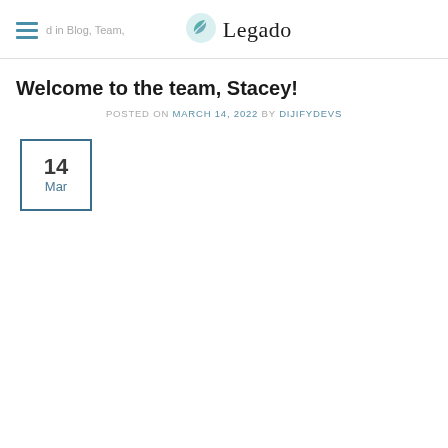Legado — Blog, Team
Welcome to the team, Stacey!
POSTED ON MARCH 14, 2022 BY DIJIFYDEVS
[Figure (other): Date box showing 14 Mar]